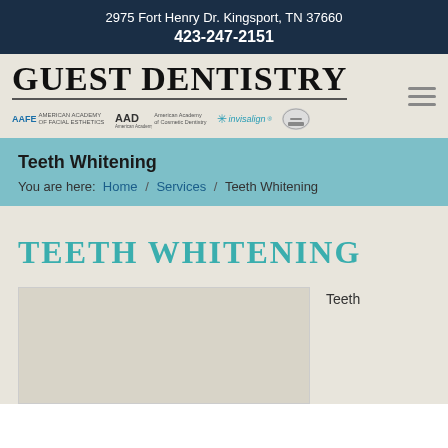2975 Fort Henry Dr. Kingsport, TN 37660
423-247-2151
[Figure (logo): Guest Dentistry logo with AAFE, AAD, Invisalign, and other dental association badges]
Teeth Whitening
You are here:  Home  /  Services  /  Teeth Whitening
TEETH WHITENING
[Figure (photo): Placeholder image area for teeth whitening content]
Teeth